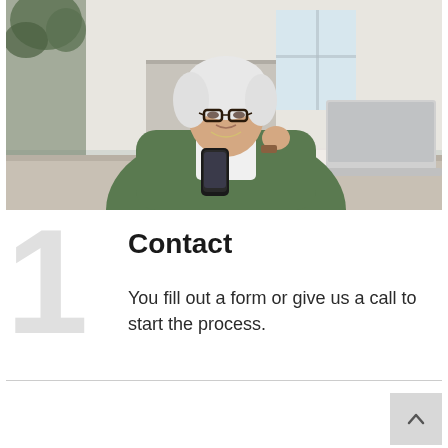[Figure (photo): Older woman with white hair and glasses sitting at a desk, holding a smartphone and looking at a laptop in a home/kitchen setting.]
Contact
You fill out a form or give us a call to start the process.